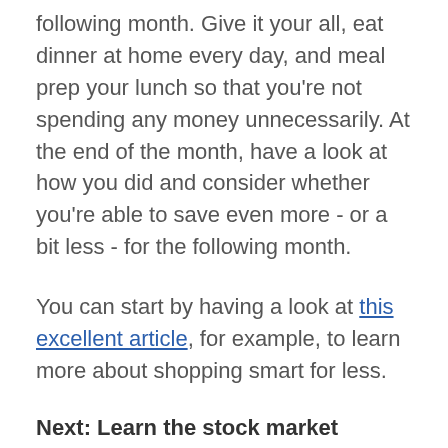following month. Give it your all, eat dinner at home every day, and meal prep your lunch so that you're not spending any money unnecessarily. At the end of the month, have a look at how you did and consider whether you're able to save even more - or a bit less - for the following month.
You can start by having a look at this excellent article, for example, to learn more about shopping smart for less.
Next: Learn the stock market